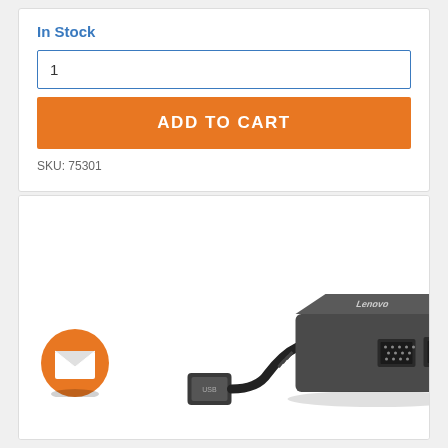In Stock
1
ADD TO CART
SKU: 75301
[Figure (photo): A USB to VGA and Ethernet adapter cable (Lenovo branded) shown on white background. The adapter has a short black cable with a USB connector on one end and a dark gray rectangular box with VGA port and RJ45 Ethernet port on the other end. An orange circle with a white envelope/mail icon is visible in the bottom left area.]